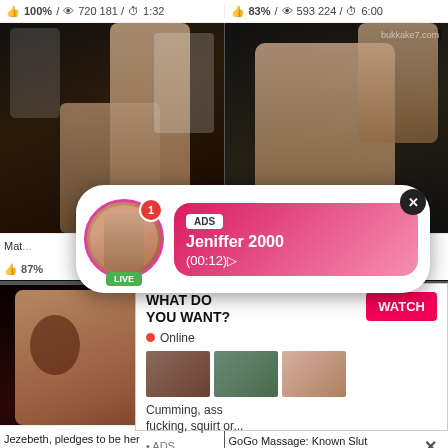👍 100% / 👁 720 181 / ⏱ 1:32
👍 83% / 👁 593 224 / ⏱ 6:00
[Figure (photo): Video thumbnail top left]
[Figure (photo): Video thumbnail top right with watermark bukkake7.com]
[Figure (screenshot): Popup ad overlay: ADS Jeniffer 2000 (00:12) with LIVE badge and notification badge]
Mat...
👍 87%
[Figure (photo): Bottom left video thumbnail]
[Figure (screenshot): Bottom ad overlay: WHAT DO YOU WANT? WATCH button, Online indicator, thumbnails, Cumming, ass fucking, squirt or... • ADS]
Jezebeth, pledges to be her
GoGo Massage: Known Slut